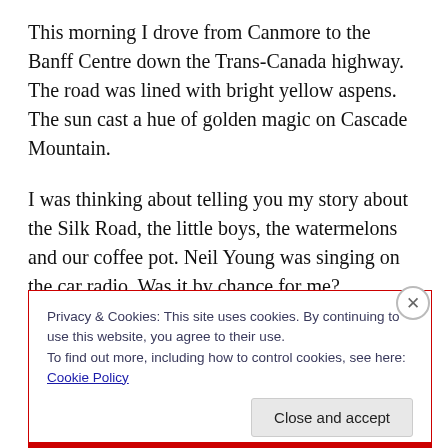This morning I drove from Canmore to the Banff Centre down the Trans-Canada highway. The road was lined with bright yellow aspens. The sun cast a hue of golden magic on Cascade Mountain.
I was thinking about telling you my story about the Silk Road, the little boys, the watermelons and our coffee pot. Neil Young was singing on the car radio. Was it by chance for me?
I crossed the ocean for a heart of gold.
Privacy & Cookies: This site uses cookies. By continuing to use this website, you agree to their use.
To find out more, including how to control cookies, see here: Cookie Policy